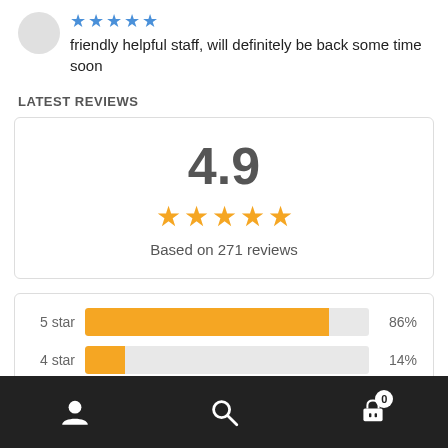friendly helpful staff, will definitely be back some time soon
LATEST REVIEWS
[Figure (infographic): Rating summary card showing 4.9 out of 5 stars based on 271 reviews]
[Figure (bar-chart): Star rating breakdown]
Navigation bar with user, search, and cart icons